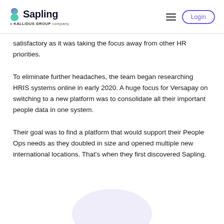Sapling — a KALLIDUS GROUP company | Login
satisfactory as it was taking the focus away from other HR priorities.
To eliminate further headaches, the team began researching HRIS systems online in early 2020. A huge focus for Versapay on switching to a new platform was to consolidate all their important people data in one system.
Their goal was to find a platform that would support their People Ops needs as they doubled in size and opened multiple new international locations. That's when they first discovered Sapling.